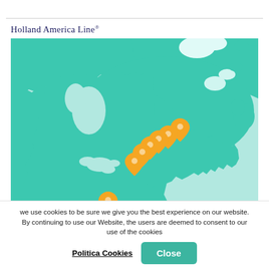Holland America Line®
[Figure (map): Map of North America and eastern Canada/US coastline with orange location pins marking cruise departure ports along the northeastern US coast and one pin near Florida. Teal/turquoise land masses with lighter teal water bodies. A triangular orange badge in the bottom-left corner reads 'Save up to 31%'.]
we use cookies to be sure we give you the best experience on our website. By continuing to use our Website, the users are deemed to consent to our use of the cookies
Politica Cookies
Close